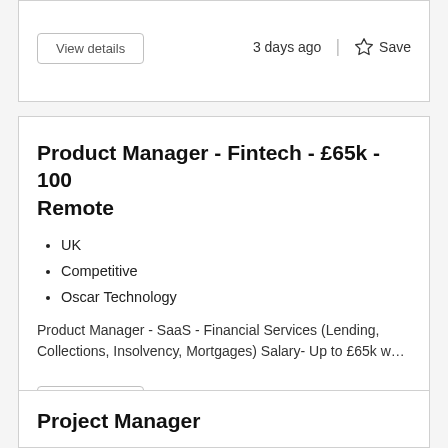View details
3 days ago
Save
Product Manager - Fintech - £65k - 100 Remote
UK
Competitive
Oscar Technology
Product Manager - SaaS - Financial Services (Lending, Collections, Insolvency, Mortgages) Salary- Up to £65k w…
View details
3 days ago
Save
Project Manager